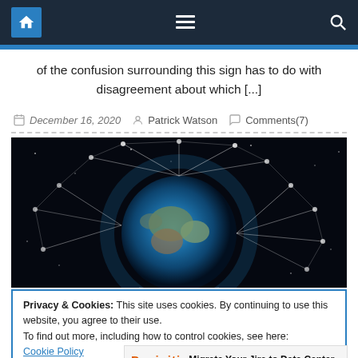Navigation bar with home, menu, and search icons
of the confusion surrounding this sign has to do with disagreement about which [...]
December 16, 2020   Patrick Watson   Comments(7)
[Figure (photo): Globe with satellite network visualization on black space background]
Privacy & Cookies: This site uses cookies. By continuing to use this website, you agree to their use.
To find out more, including how to control cookies, see here:
Cookie Policy
[Figure (infographic): Advertisement banner: Deviniti logo with text 'Migrate Your Jira to Data Center']